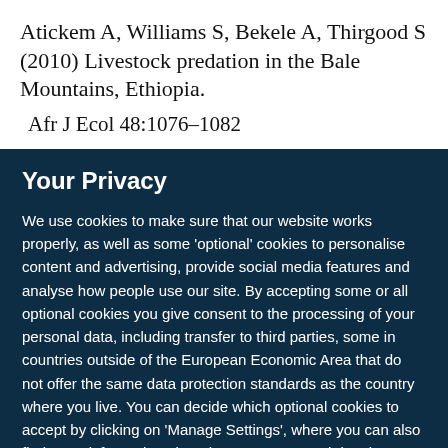Atickem A, Williams S, Bekele A, Thirgood S (2010) Livestock predation in the Bale Mountains, Ethiopia. Afr J Ecol 48:1076–1082
Your Privacy
We use cookies to make sure that our website works properly, as well as some 'optional' cookies to personalise content and advertising, provide social media features and analyse how people use our site. By accepting some or all optional cookies you give consent to the processing of your personal data, including transfer to third parties, some in countries outside of the European Economic Area that do not offer the same data protection standards as the country where you live. You can decide which optional cookies to accept by clicking on 'Manage Settings', where you can also find more information about how your personal data is processed. Further information can be found in our privacy policy.
Accept all cookies
Manage preferences